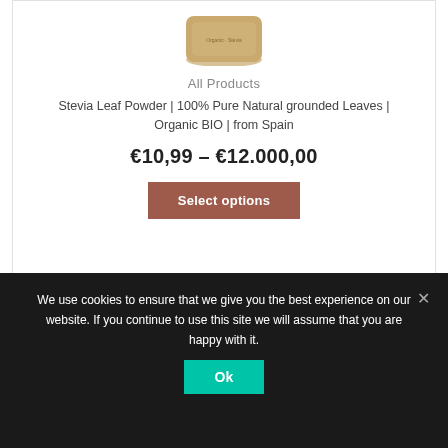[Figure (photo): Partial view of a tan/gold product container at the top of the product card]
All Products
Stevia Leaf Powder | 100% Pure Natural grounded Leaves | Organic BIO | from Spain
€10,99 – €12.000,00
Select options
We use cookies to ensure that we give you the best experience on our website. If you continue to use this site we will assume that you are happy with it.
Ok